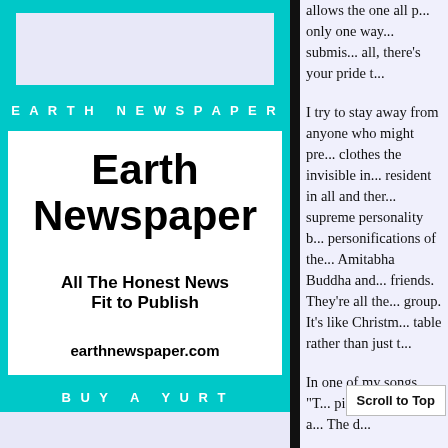[Figure (screenshot): Top banner area with light purple/lavender background, partially visible]
EARTH NEWSPAPER
[Figure (advertisement): Earth Newspaper advertisement box with white background. Title: Earth Newspaper. Slogan: All The Honest News Fit to Publish. URL: earthnewspaper.com]
BUY A YURT
allows the one all p... only one way... submis... all, there's your pride t...
I try to stay away from anyone who might pre... clothes the invisible in... resident in all and the... supreme personality b... personifications of the... Amitabha Buddha and... friends. They're all the... group. It's like Christm... table rather than just t...
In one of my songs, "T... piece everywhere a... The d...
Scroll to Top